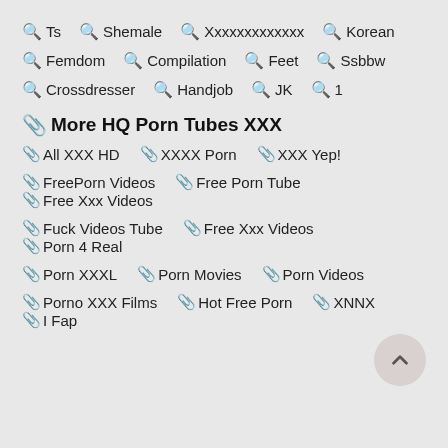🔍 Ts  🔍 Shemale  🔍 Xxxxxxxxxxxxx  🔍 Korean
🔍 Femdom  🔍 Compilation  🔍 Feet  🔍 Ssbbw
🔍 Crossdresser  🔍 Handjob  🔍 JK  🔍 1
More HQ Porn Tubes XXX
📎 All XXX HD  📎 XXXX Porn  📎 XXX Yep!
📎 FreePorn Videos  📎 Free Porn Tube  📎 Free Xxx Videos
📎 Fuck Videos Tube  📎 Free Xxx Videos  📎 Porn 4 Real
📎 Porn XXXL  📎 Porn Movies  📎 Porn Videos
📎 Porno XXX Films  📎 Hot Free Porn  📎 XNNX  📎 I Fap